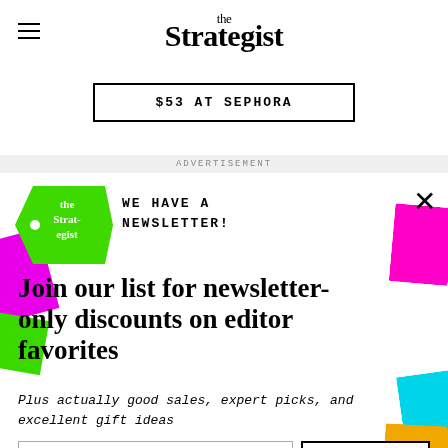the Strategist
$53 AT SEPHORA
ADVERTISEMENT
[Figure (logo): Green price-tag shaped logo with 'the Strategist' text in white on green background]
WE HAVE A NEWSLETTER!
Join our list for newsletter-only discounts on editor favorites
Plus actually good sales, expert picks, and excellent gift ideas
Enter email here
SIGN ME UP
NO THANKS